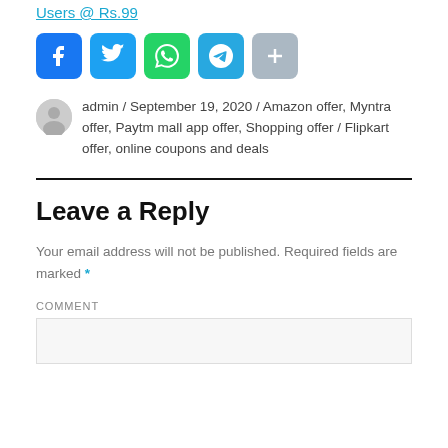Users @ Rs.99
[Figure (infographic): Social share buttons: Facebook (blue), Twitter (light blue), WhatsApp (green), Telegram (teal), Share/Plus (gray)]
admin / September 19, 2020 / Amazon offer, Myntra offer, Paytm mall app offer, Shopping offer / Flipkart offer, online coupons and deals
Leave a Reply
Your email address will not be published. Required fields are marked *
COMMENT